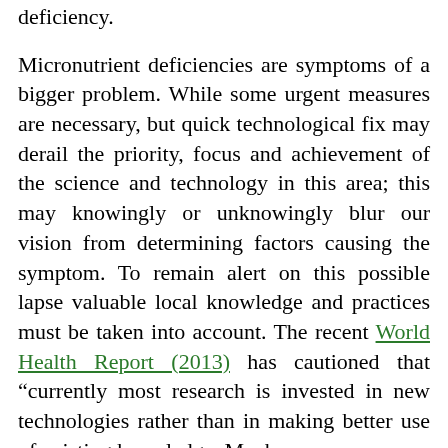deficiency.
Micronutrient deficiencies are symptoms of a bigger problem. While some urgent measures are necessary, but quick technological fix may derail the priority, focus and achievement of the science and technology in this area; this may knowingly or unknowingly blur our vision from determining factors causing the symptom. To remain alert on this possible lapse valuable local knowledge and practices must be taken into account. The recent World Health Report (2013) has cautioned that “currently most research is invested in new technologies rather than in making better use of existing knowledge. Much more research is needed to recognise